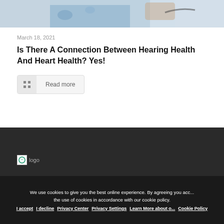[Figure (photo): Partial view of a healthcare professional using a stethoscope on a patient wearing a floral garment]
March 18, 2021
Is There A Connection Between Hearing Health And Heart Health? Yes!
Read more
[Figure (logo): Website logo in the dark footer area]
We use cookies to give you the best online experience. By agreeing you accept the use of cookies in accordance with our cookie policy.
I accept   I decline   Privacy Center   Privacy Settings   Learn More about our Cookie Policy